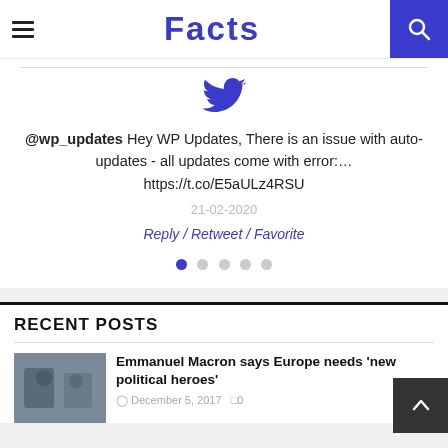Facts
@wp_updates Hey WP Updates, There is an issue with auto-updates - all updates come with error:… https://t.co/E5aULz4RSU
21-02-2020
Reply / Retweet / Favorite
RECENT POSTS
Emmanuel Macron says Europe needs 'new political heroes'
December 5, 2017  0